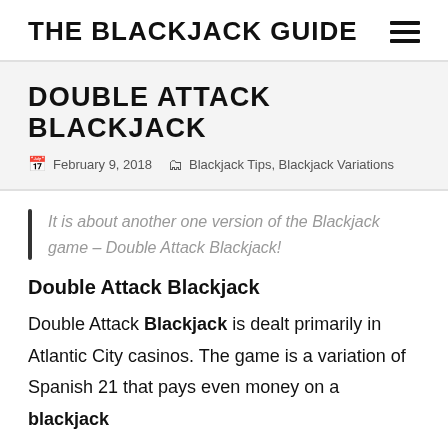THE BLACKJACK GUIDE
DOUBLE ATTACK BLACKJACK
February 9, 2018   Blackjack Tips, Blackjack Variations
It is about another one version of the Blackjack game – Double Attack Blackjack!
Double Attack Blackjack
Double Attack Blackjack is dealt primarily in Atlantic City casinos. The game is a variation of Spanish 21 that pays even money on a blackjack